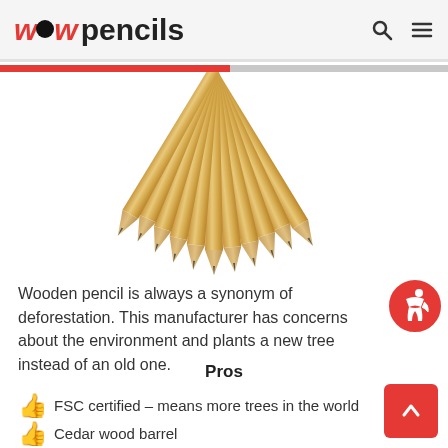wow pencils
[Figure (photo): Multiple sharpened wooden pencils arranged side by side in a fan/spread pattern, viewed from above with tips pointing down, natural wood color with graphite tips]
Wooden pencil is always a synonym of deforestation. This manufacturer has concerns about the environment and plants a new tree instead of an old one.
Pros
FSC certified – means more trees in the world
Cedar wood barrel